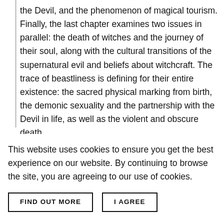the Devil, and the phenomenon of magical tourism. Finally, the last chapter examines two issues in parallel: the death of witches and the journey of their soul, along with the cultural transitions of the supernatural evil and beliefs about witchcraft. The trace of beastliness is defining for their entire existence: the sacred physical marking from birth, the demonic sexuality and the partnership with the Devil in life, as well as the violent and obscure death.
This website uses cookies to ensure you get the best experience on our website. By continuing to browse the site, you are agreeing to our use of cookies.
FIND OUT MORE
I AGREE